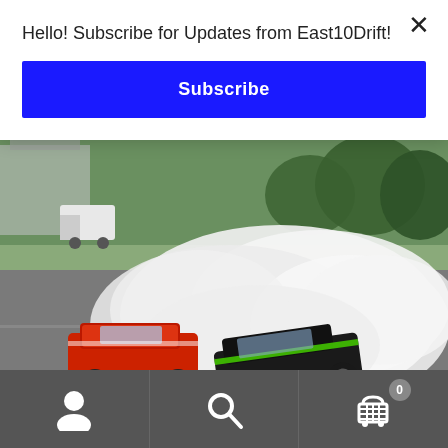Hello! Subscribe for Updates from East10Drift!
Subscribe
[Figure (photo): Two drift cars — a red car and a black/green car — drifting side by side on a track, producing large clouds of white tire smoke. An East10Drift watermark is visible in the lower right corner.]
Brunet would end up in that battle against Brutskiy after a
Navigation bar with user icon, search icon, and cart icon with badge showing 0